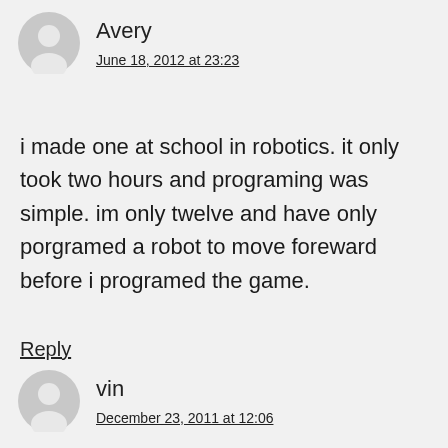Avery
June 18, 2012 at 23:23
i made one at school in robotics. it only took two hours and programing was simple. im only twelve and have only porgramed a robot to move foreward before i programed the game.
Reply
vin
December 23, 2011 at 12:06